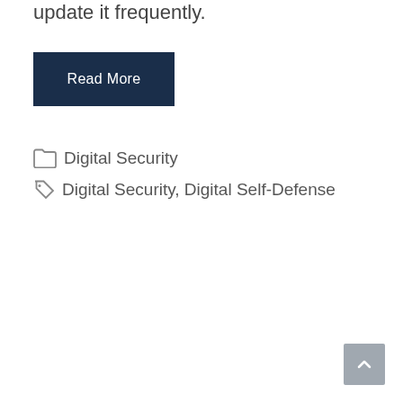update it frequently.
Read More
Digital Security
Digital Security, Digital Self-Defense